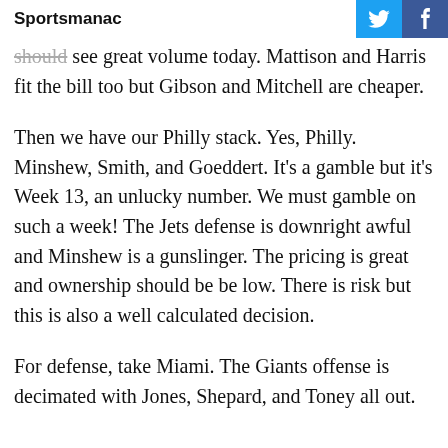Sportsmanac
should see great volume today. Mattison and Harris fit the bill too but Gibson and Mitchell are cheaper.
Then we have our Philly stack. Yes, Philly. Minshew, Smith, and Goeddert. It's a gamble but it's Week 13, an unlucky number. We must gamble on such a week! The Jets defense is downright awful and Minshew is a gunslinger. The pricing is great and ownership should be be low. There is risk but this is also a well calculated decision.
For defense, take Miami. The Giants offense is decimated with Jones, Shepard, and Toney all out.